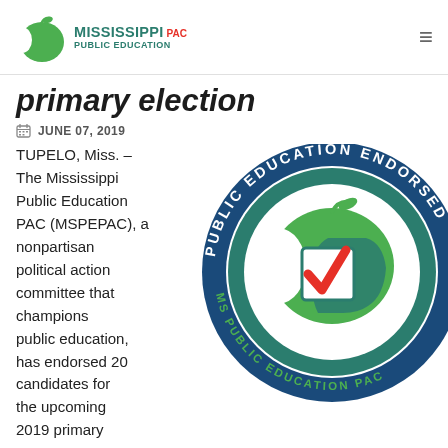Mississippi Public Education PAC
primary election
JUNE 07, 2019
TUPELO, Miss. – The Mississippi Public Education PAC (MSPEPAC), a nonpartisan political action committee that champions public education, has endorsed 20 candidates for the upcoming 2019 primary
[Figure (logo): Public Education Endorsed circular seal logo with MS Public Education PAC text, green apple with checkmark and silhouette graphic]
SHARE